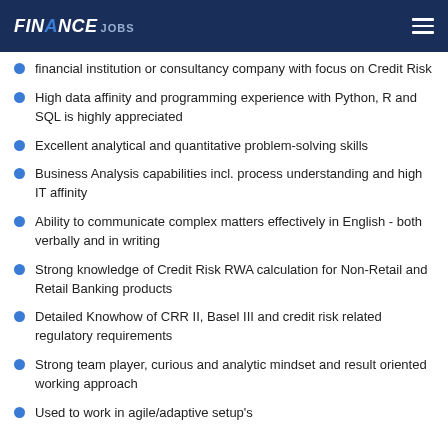FINANCE JOBS
financial institution or consultancy company with focus on Credit Risk
High data affinity and programming experience with Python, R and SQL is highly appreciated
Excellent analytical and quantitative problem-solving skills
Business Analysis capabilities incl. process understanding and high IT affinity
Ability to communicate complex matters effectively in English - both verbally and in writing
Strong knowledge of Credit Risk RWA calculation for Non-Retail and Retail Banking products
Detailed Knowhow of CRR II, Basel III and credit risk related regulatory requirements
Strong team player, curious and analytic mindset and result oriented working approach
Used to work in agile/adaptive setup's